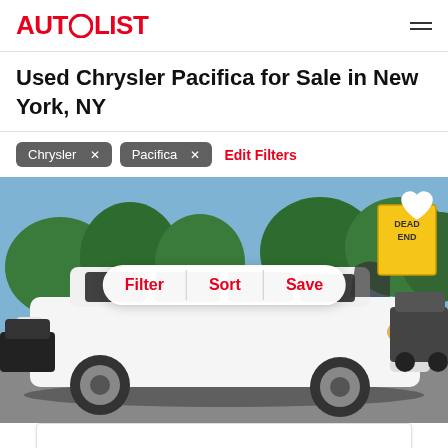AUTOLIST
Used Chrysler Pacifica for Sale in New York, NY
Chrysler ×
Pacifica ×
Edit Filters
[Figure (photo): White Chrysler Pacifica minivan parked on a street with trees and a yellow Dead End sign in the background. Overlay shows Filter, Sort, Save pill buttons and a heart icon.]
[Figure (other): Partially visible white card/listing at the bottom of the page]